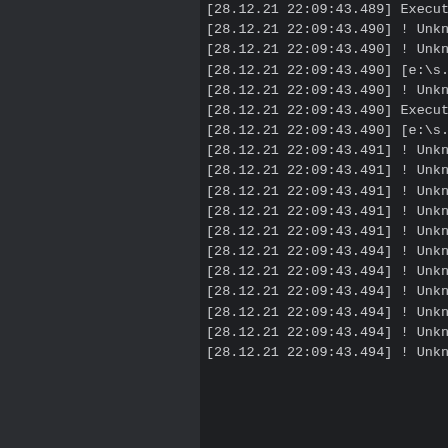[Figure (screenshot): Dark-themed IDE or console log panel showing timestamped log entries starting with [28.12.21 22:09:43.xxx] followed by messages beginning with 'Executing', '! Unknow', or '[e:\s.t.a.' The left portion of the screen is a dark sidebar panel and the right portion shows the log output.]